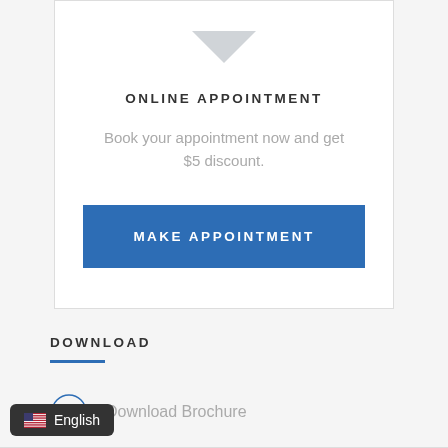ONLINE APPOINTMENT
Book your appointment now and get $5 discount.
MAKE APPOINTMENT
DOWNLOAD
Download Brochure